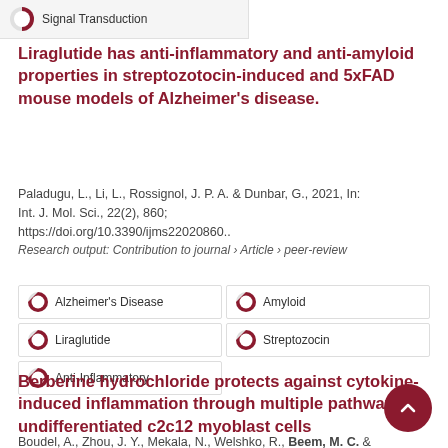[Figure (infographic): Partial donut-style badge icon with label 'Signal Transduction']
Liraglutide has anti-inflammatory and anti-amyloid properties in streptozotocin-induced and 5xFAD mouse models of Alzheimer's disease.
Paladugu, L., Li, L., Rossignol, J. P. A. & Dunbar, G., 2021, In: Int. J. Mol. Sci., 22(2), 860; https://doi.org/10.3390/ijms22020860..
Research output: Contribution to journal › Article › peer-review
Alzheimer's Disease
Amyloid
Liraglutide
Streptozocin
Anti-Inflammatory
Berberine hydrochloride protects against cytokine-induced inflammation through multiple pathways in undifferentiated c2c12 myoblast cells
Boudel, A., Zhou, J. Y., Mekala, N., Welshko, R., Beem, M. C. &